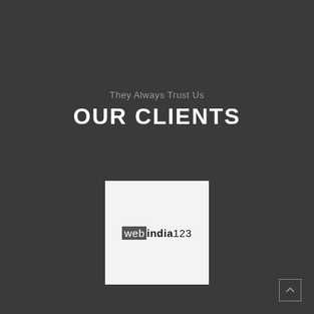They Always Trust Us
OUR CLIENTS
[Figure (logo): webindia123 logo displayed in a white/light gray square box. The logo shows 'web' in white text on a dark gray background, followed by 'india' in bold dark text and '123' in regular dark text.]